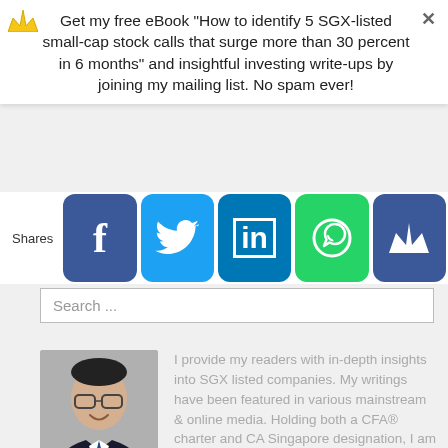Get my free eBook "How to identify 5 SGX-listed small-cap stock calls that surge more than 30 percent in 6 months" and insightful investing write-ups by joining my mailing list. No spam ever!
[Figure (screenshot): Social share buttons bar showing Facebook, Twitter, LinkedIn, WhatsApp, and mailing list icons with Shares label]
[Figure (screenshot): Search input box with placeholder text 'Search ...']
[Figure (photo): Profile photo of a young Asian man in a suit and tie, smiling, wearing glasses]
I provide my readers with in-depth insights into SGX listed companies. My writings have been featured in various mainstream & online media. Holding both a CFA® charter and CA Singapore designation, I am an avid investor, trader & remisier.